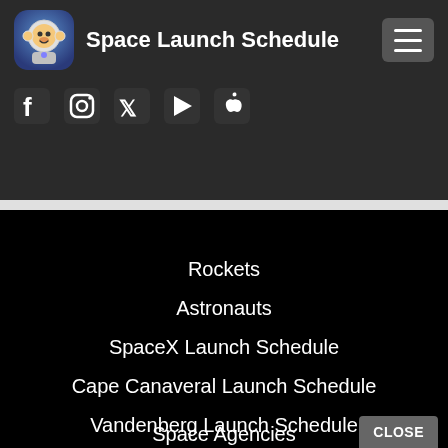Space Launch Schedule
[Figure (logo): Space Launch Schedule app logo: cartoon astronaut monkey icon]
[Figure (infographic): Social media icons: Facebook, Instagram, Twitter, Google Play, Apple]
Rockets
Astronauts
SpaceX Launch Schedule
Cape Canaveral Launch Schedule
Vandenberg Launch Schedule
Space Agencies